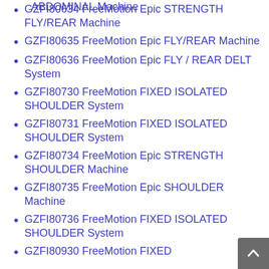GZFI80634 FreeMotion Epic STRENGTH FLY/REAR Machine
GZFI80635 FreeMotion Epic FLY/REAR Machine
GZFI80636 FreeMotion Epic FLY / REAR DELT System
GZFI80730 FreeMotion FIXED ISOLATED SHOULDER System
GZFI80731 FreeMotion FIXED ISOLATED SHOULDER System
GZFI80734 FreeMotion Epic STRENGTH SHOULDER Machine
GZFI80735 FreeMotion Epic SHOULDER Machine
GZFI80736 FreeMotion FIXED ISOLATED SHOULDER System
GZFI80930 FreeMotion FIXED